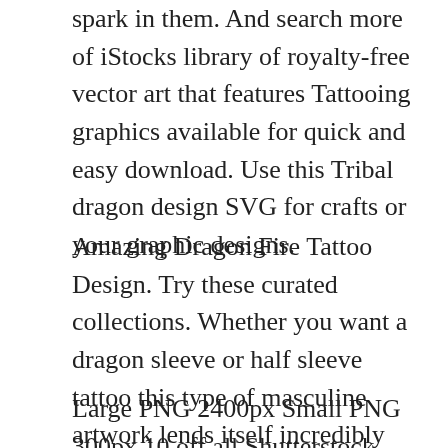spark in them. And search more of iStocks library of royalty-free vector art that features Tattooing graphics available for quick and easy download. Use this Tribal dragon design SVG for crafts or your graphic designs.
Amazing Dragon Fire Tattoo Design. Try these curated collections. Whether you want a dragon sleeve or half sleeve tattoo this type of masculine artwork lends itself incredibly well to the arm.
Large PNG 2400px Small PNG 300px 10 off all Shutterstock plans with code SVG10. Tribal